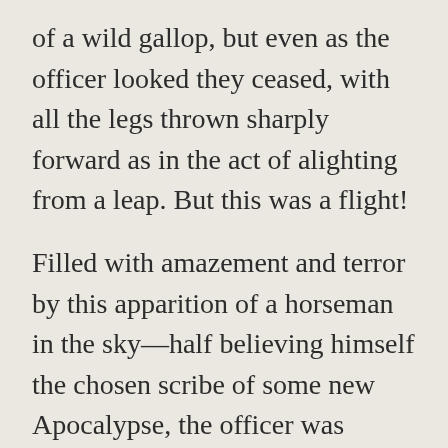of a wild gallop, but even as the officer looked they ceased, with all the legs thrown sharply forward as in the act of alighting from a leap. But this was a flight!
Filled with amazement and terror by this apparition of a horseman in the sky––half believing himself the chosen scribe of some new Apocalypse, the officer was overcome by the intensity of his emotions; his legs failed him and he fell. Almost at the same instant he heard a crashing sound in the trees––a sound that died without an echo––and all was still.